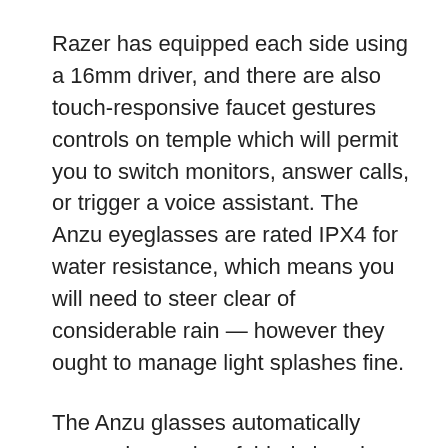Razer has equipped each side using a 16mm driver, and there are also touch-responsive faucet gestures controls on temple which will permit you to switch monitors, answer calls, or trigger a voice assistant. The Anzu eyeglasses are rated IPX4 for water resistance, which means you will need to steer clear of considerable rain — however they ought to manage light splashes fine.
The Anzu glasses automatically power down when folded closed — reaching around 2 months of standby time and then set to the previous device once opened up. That is about on par with Bose, which quotes 5.5 hours because of its Tenor sound protections. In terms of sound bleed, which is almost always a side impact with those sound eyeglasses, Razer explained that individuals within arm's space will most likely pick up in